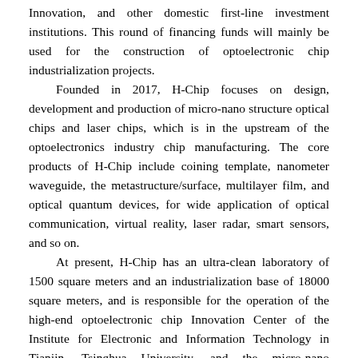Innovation, and other domestic first-line investment institutions. This round of financing funds will mainly be used for the construction of optoelectronic chip industrialization projects.

Founded in 2017, H-Chip focuses on design, development and production of micro-nano structure optical chips and laser chips, which is in the upstream of the optoelectronics industry chip manufacturing. The core products of H-Chip include coining template, nanometer waveguide, the metastructure/surface, multilayer film, and optical quantum devices, for wide application of optical communication, virtual reality, laser radar, smart sensors, and so on.

At present, H-Chip has an ultra-clean laboratory of 1500 square meters and an industrialization base of 18000 square meters, and is responsible for the operation of the high-end optoelectronic chip Innovation Center of the Institute for Electronic and Information Technology in Tianjin, Tsinghua University, and the micro-nano optoelectronic technology Laboratory of Jingjinji National Center of Technology Innovation. The first phase of the optoelectronic chip industrialization...